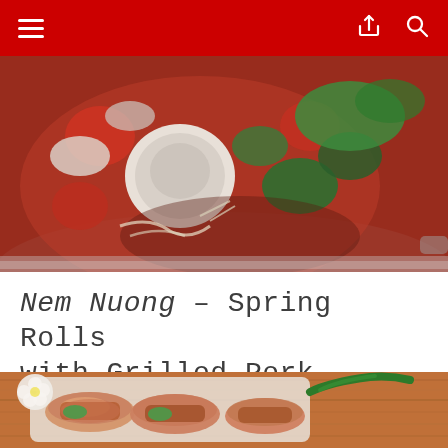Navigation header with menu, share, and search icons
[Figure (photo): Overhead view of a pot containing Vietnamese soup with tomatoes, onions, green vegetables, herbs, and broth on a white surface]
Nem Nuong – Spring Rolls with Grilled Pork Patties
[Figure (photo): Close-up of Vietnamese spring rolls (Nem Nuong) with grilled pork patties on a wooden surface, showing translucent rice paper wrapping with green herbs and grilled meat inside]